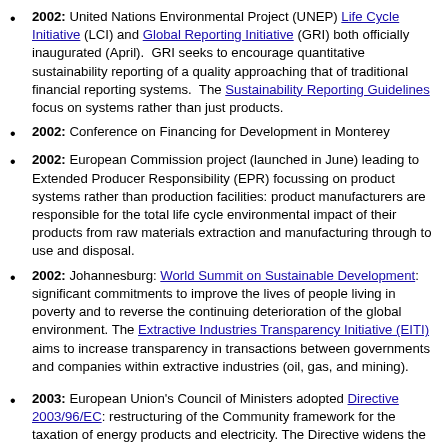2002: United Nations Environmental Project (UNEP) Life Cycle Initiative (LCI) and Global Reporting Initiative (GRI) both officially inaugurated (April).  GRI seeks to encourage quantitative sustainability reporting of a quality approaching that of traditional financial reporting systems.  The Sustainability Reporting Guidelines focus on systems rather than just products.
2002: Conference on Financing for Development in Monterey
2002: European Commission project (launched in June) leading to Extended Producer Responsibility (EPR) focussing on product systems rather than production facilities: product manufacturers are responsible for the total life cycle environmental impact of their products from raw materials extraction and manufacturing through to use and disposal.
2002: Johannesburg: World Summit on Sustainable Development: significant commitments to improve the lives of people living in poverty and to reverse the continuing deterioration of the global environment. The Extractive Industries Transparency Initiative (EITI) aims to increase transparency in transactions between governments and companies within extractive industries (oil, gas, and mining).
2003: European Union's Council of Ministers adopted Directive 2003/96/EC: restructuring of the Community framework for the taxation of energy products and electricity. The Directive widens the scope of the EU minimum rate system for energy products (previously limited to mineral oils) to all energy products including coal, natural gas and electricity.
2003: The WEEE Directive (Waste Electrical and Electronic Equipment) which seeks to increase recycling and recovery of